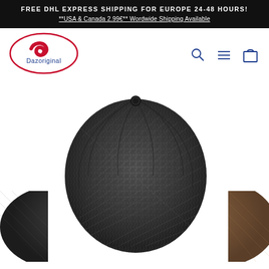FREE DHL EXPRESS SHIPPING FOR EUROPE 24-48 HOURS! **USA & Canada 2.99€** Wordwide Shipping Available
[Figure (logo): Dazoriginal brand logo — red oval with dark swirl, text 'Dazoriginal' below in blue]
[Figure (photo): Top-down view of a dark grey herringbone tweed newsboy/baker boy cap, centered. Partial views of two more caps on left and right edges — dark cap on left, brown tweed cap on right.]